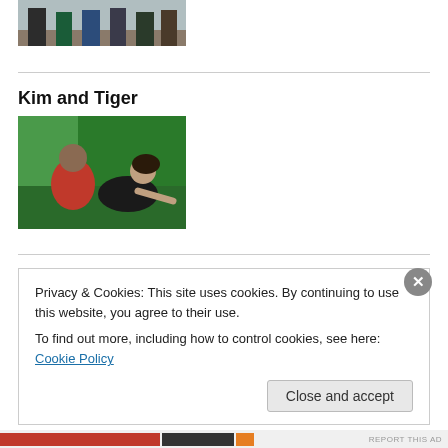[Figure (photo): Top portion of a photo showing people standing, cropped at knees/waist level]
Kim and Tiger
[Figure (photo): Photo of two people on a green surface; person in red shirt and person in black top]
Privacy & Cookies: This site uses cookies. By continuing to use this website, you agree to their use.
To find out more, including how to control cookies, see here: Cookie Policy
Close and accept